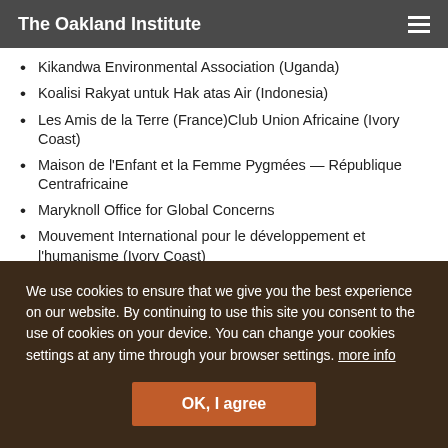The Oakland Institute
Kikandwa Environmental Association (Uganda)
Koalisi Rakyat untuk Hak atas Air (Indonesia)
Les Amis de la Terre (France)Club Union Africaine (Ivory Coast)
Maison de l'Enfant et la Femme Pygmées — République Centrafricaine
Maryknoll Office for Global Concerns
Mouvement International pour le développement et l'humanisme (Ivory Coast)
Natuurpunt (Belgium)
Natuurpunt CVN (Belgium)
We use cookies to ensure that we give you the best experience on our website. By continuing to use this site you consent to the use of cookies on your device. You can change your cookies settings at any time through your browser settings. more info
OK, I agree